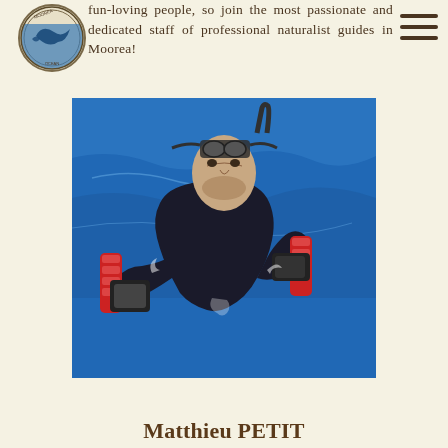fun-loving people, so join the most passionate and dedicated staff of professional naturalist guides in Moorea!
[Figure (logo): Circular logo with marine/ocean theme showing a dolphin or whale, text around border]
[Figure (photo): A man in a wetsuit floating in blue ocean water, wearing diving goggles on his forehead, holding camera equipment with red grips in both hands]
Matthieu PETIT